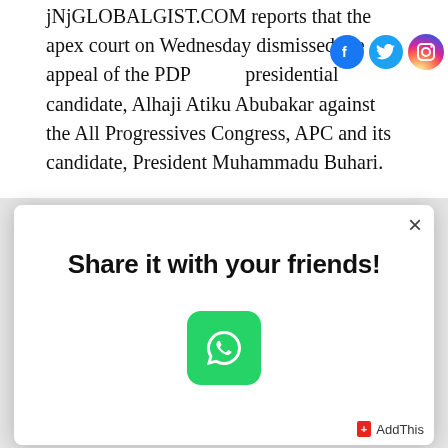jNjGLOBALGIST.COM reports that the apex court on Wednesday dismissed the appeal of the PDP presidential candidate, Alhaji Atiku Abubakar against the All Progressives Congress, APC and its candidate, President Muhammadu Buhari.
The Chief Justice of Nigeria, CJN, Tanko Mohammed in his judgment said, “We have examined all the briefs and exhibits for over two weeks.
[Figure (screenshot): A modal popup dialog with text 'Share it with your friends!' and a WhatsApp share button (green square with phone icon). A close (×) button is in the top right. An AddThis branding label appears at the bottom right.]
Here are some comments gathered by...